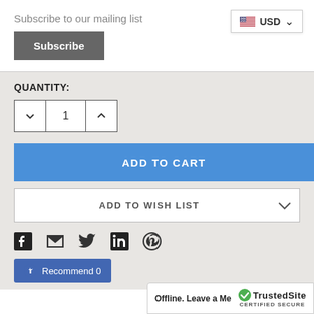Subscribe to our mailing list
Subscribe
USD
QUANTITY:
ADD TO CART
ADD TO WISH LIST
[Figure (other): Social sharing icons: Facebook, email, Twitter, LinkedIn, Pinterest]
Recommend 0
Offline. Leave a Me...
[Figure (logo): TrustedSite CERTIFIED SECURE badge with green checkmark]